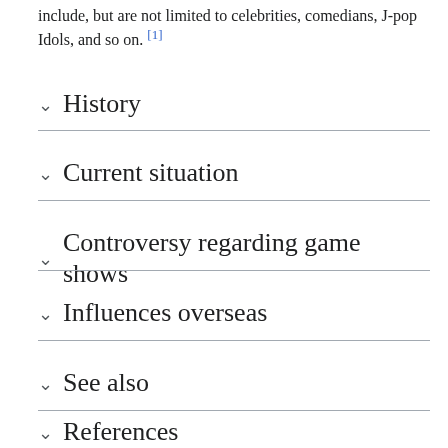include, but are not limited to celebrities, comedians, J-pop Idols, and so on. [1]
History
Current situation
Controversy regarding game shows
Influences overseas
See also
References